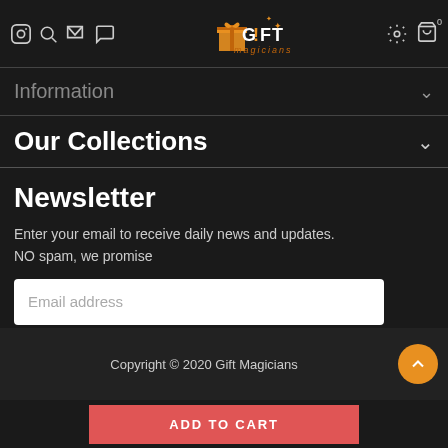Gift Magicians - Navigation header with icons and logo
Information
Our Collections
Newsletter
Enter your email to receive daily news and updates. NO spam, we promise
Copyright © 2020 Gift Magicians
ADD TO CART